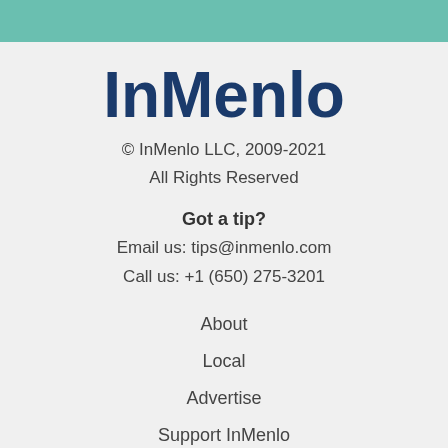InMenlo
© InMenlo LLC, 2009-2021
All Rights Reserved
Got a tip?
Email us: tips@inmenlo.com
Call us: +1 (650) 275-3201
About
Local
Advertise
Support InMenlo
Menlo Park